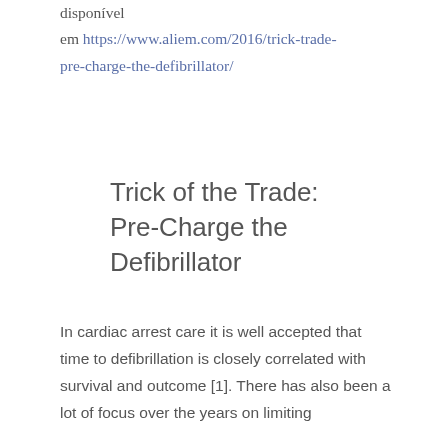disponível em https://www.aliem.com/2016/trick-trade-pre-charge-the-defibrillator/
Trick of the Trade: Pre-Charge the Defibrillator
In cardiac arrest care it is well accepted that time to defibrillation is closely correlated with survival and outcome [1]. There has also been a lot of focus over the years on limiting